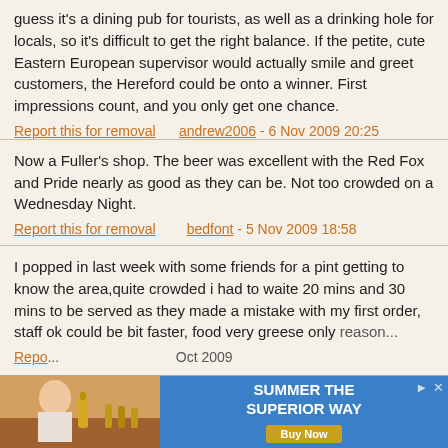guess it's a dining pub for tourists, as well as a drinking hole for locals, so it's difficult to get the right balance. If the petite, cute Eastern European supervisor would actually smile and greet customers, the Hereford could be onto a winner. First impressions count, and you only get one chance.
Report this for removal    andrew2006 - 6 Nov 2009 20:25
Now a Fuller's shop. The beer was excellent with the Red Fox and Pride nearly as good as they can be. Not too crowded on a Wednesday Night.
Report this for removal    bedfont - 5 Nov 2009 18:58
I popped in last week with some friends for a pint getting to know the area,quite crowded i had to waite 20 mins and 30 mins to be served as they made a mistake with my first order, staff ok could be bit faster, food very greese only reason...
Report this for removal    ... Oct 2009
[Figure (other): Advertisement banner: image of person with beer bottle on left, blue background with text 'SUMMER THE SUPERIOR WAY' and 'Buy Now' button on right]